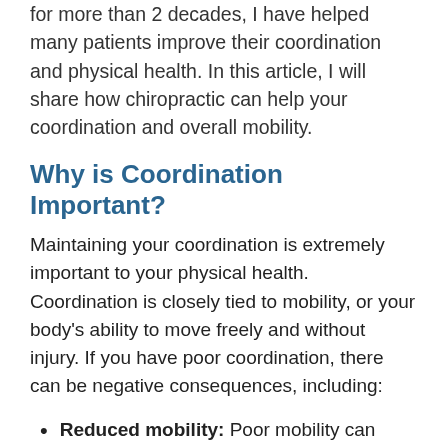for more than 2 decades, I have helped many patients improve their coordination and physical health. In this article, I will share how chiropractic can help your coordination and overall mobility.
Why is Coordination Important?
Maintaining your coordination is extremely important to your physical health. Coordination is closely tied to mobility, or your body's ability to move freely and without injury. If you have poor coordination, there can be negative consequences, including:
Reduced mobility: Poor mobility can cause a vicious cycle of physical problems that continually worsens. Someone with poor mobility is likely to lose strength, which then...